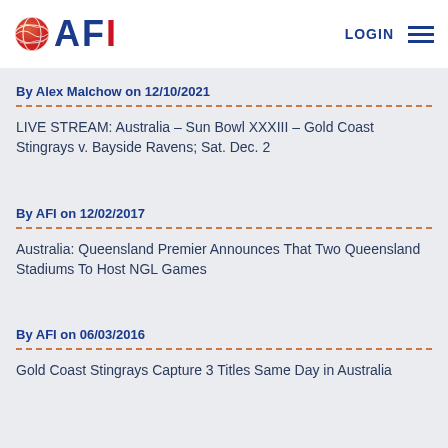AFI - LOGIN
By Alex Malchow on 12/10/2021
LIVE STREAM: Australia – Sun Bowl XXXIII – Gold Coast Stingrays v. Bayside Ravens; Sat. Dec. 2
By AFI on 12/02/2017
Australia: Queensland Premier Announces That Two Queensland Stadiums To Host NGL Games
By AFI on 06/03/2016
Gold Coast Stingrays Capture 3 Titles Same Day in Australia